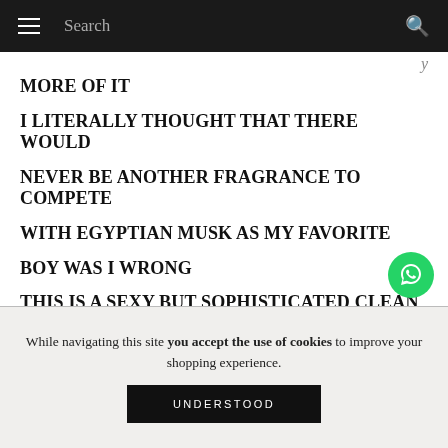Search
MORE OF IT

I LITERALLY THOUGHT THAT THERE WOULD

NEVER BE ANOTHER FRAGRANCE TO COMPETE

WITH EGYPTIAN MUSK AS MY FAVORITE

BOY WAS I WRONG

THIS IS A SEXY BUT SOPHISTICATED CLEAN CRISP SCENT
While navigating this site you accept the use of cookies to improve your shopping experience.
UNDERSTOOD